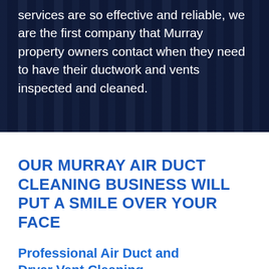services are so effective and reliable, we are the first company that Murray property owners contact when they need to have their ductwork and vents inspected and cleaned.
OUR MURRAY AIR DUCT CLEANING BUSINESS WILL PUT A SMILE OVER YOUR FACE
Professional Air Duct and Dryer Vent Cleaning